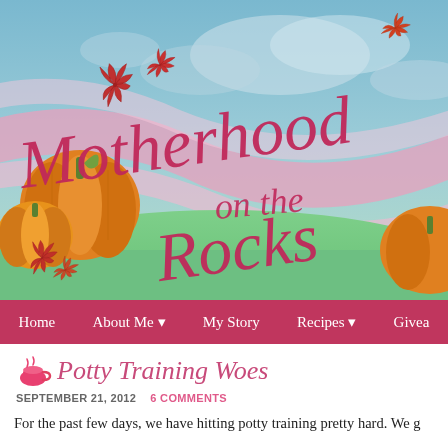[Figure (illustration): Motherhood on the Rocks blog header banner with decorative script logo text, pink ribbon swooshes, pumpkins, autumn leaves on a sky and green grass background]
Home   About Me ▾   My Story   Recipes ▾   Givea
Potty Training Woes
SEPTEMBER 21, 2012   6 COMMENTS
For the past few days, we have hitting potty training pretty hard. We g